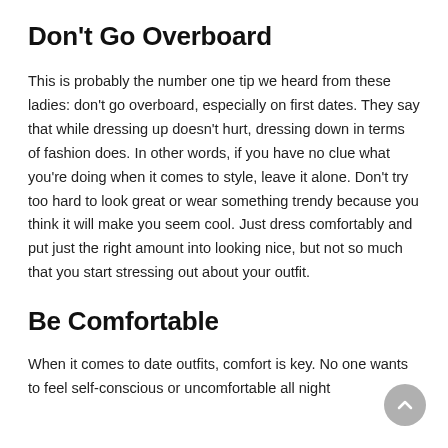Don't Go Overboard
This is probably the number one tip we heard from these ladies: don't go overboard, especially on first dates. They say that while dressing up doesn't hurt, dressing down in terms of fashion does. In other words, if you have no clue what you're doing when it comes to style, leave it alone. Don't try too hard to look great or wear something trendy because you think it will make you seem cool. Just dress comfortably and put just the right amount into looking nice, but not so much that you start stressing out about your outfit.
Be Comfortable
When it comes to date outfits, comfort is key. No one wants to feel self-conscious or uncomfortable all night